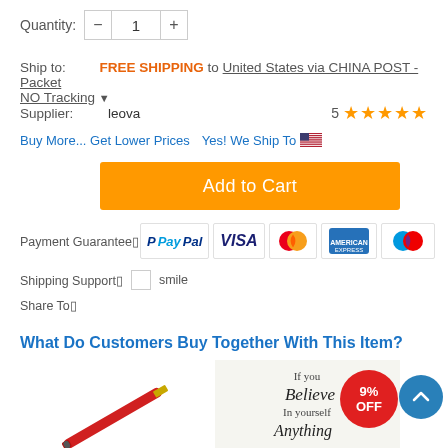Quantity: - 1 +
Ship to: FREE SHIPPING to United States via CHINA POST - Packet NO Tracking
Supplier: leova   5 ★★★★★
Buy More... Get Lower Prices   Yes! We Ship To 🇺🇸
[Figure (other): Orange Add to Cart button]
Payment Guarantee: PayPal VISA Mastercard American Express Maestro
Shipping Support: smile
Share To:
What Do Customers Buy Together With This Item?
[Figure (photo): Red pen product image]
[Figure (photo): Inspirational quote card with text: If you Believe In yourself Anything]
[Figure (other): 9% OFF discount badge (red circle)]